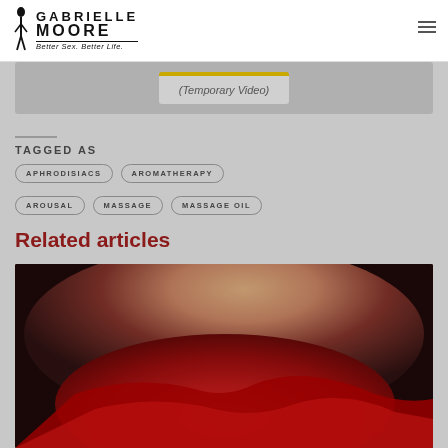Gabrielle Moore — Better Sex. Better Life.
[Figure (screenshot): Video placeholder with yellow bar and text '(Temporary Video)']
TAGGED AS
APHRODISIACS
AROMATHERAPY
AROUSAL
MASSAGE
MASSAGE OIL
Related articles
[Figure (photo): Sensual photo of a person draped in red satin fabric against a dark background]